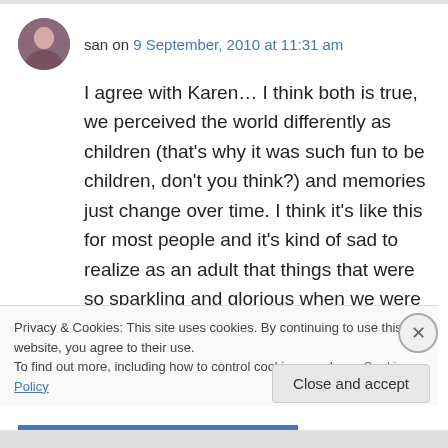san on 9 September, 2010 at 11:31 am
I agree with Karen… I think both is true, we perceived the world differently as children (that's why it was such fun to be children, don't you think?) and memories just change over time. I think it's like this for most people and it's kind of sad to realize as an adult that things that were so sparkling and glorious when we were kids, are in fact, nothing special through the eyes of
Privacy & Cookies: This site uses cookies. By continuing to use this website, you agree to their use.
To find out more, including how to control cookies, see here: Cookie Policy